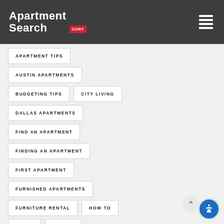[Figure (logo): Apartment Search CORT logo on dark grey header background with hamburger menu icon]
APARTMENT TIPS
AUSTIN APARTMENTS
BUDGETING TIPS
CITY LIVING
DALLAS APARTMENTS
FIND AN APARTMENT
FINDING AN APARTMENT
FIRST APARTMENT
FURNISHED APARTMENTS
FURNITURE RENTAL
HOW TO
LEASE
MOVING